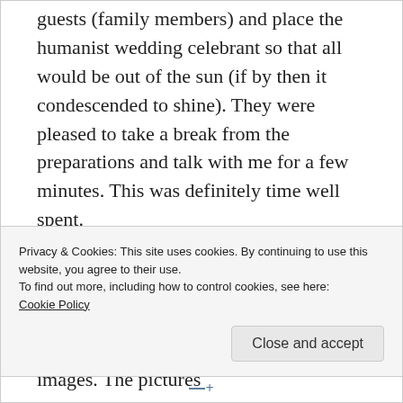guests (family members) and place the humanist wedding celebrant so that all would be out of the sun (if by then it condescended to shine). They were pleased to take a break from the preparations and talk with me for a few minutes. This was definitely time well spent.
Just before I left them and they returned to their hectic preparations I sat them quietly on a set of flower fringed stone steps and we created some intimate images. The pictures
Privacy & Cookies: This site uses cookies. By continuing to use this website, you agree to their use.
To find out more, including how to control cookies, see here:
Cookie Policy
Close and accept